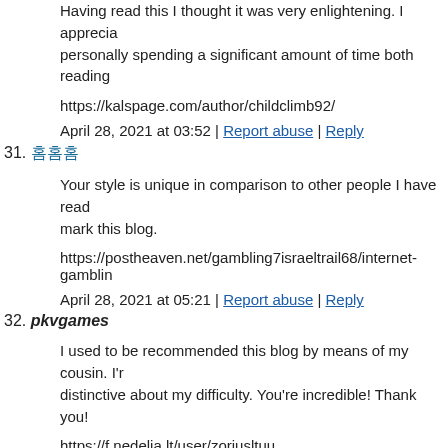Having read this I thought it was very enlightening. I apprecia personally spending a significant amount of time both reading
https://kalspage.com/author/childclimb92/
April 28, 2021 at 03:52 | Report abuse | Reply
31. 홈홈홈
Your style is unique in comparison to other people I have read mark this blog.
https://postheaven.net/gambling7israeltrail68/internet-gamblin
April 28, 2021 at 05:21 | Report abuse | Reply
32. pkvgames
I used to be recommended this blog by means of my cousin. I'r distinctive about my difficulty. You're incredible! Thank you!
https://f.nedelia.lt/user/zoriusltuu
April 28, 2021 at 05:41 | Report abuse | Reply
33. 홈홈홈홈홈
I'm more than happy to discover this great site. I wanted to tha have you bookmarked to check out new stuff in your site.